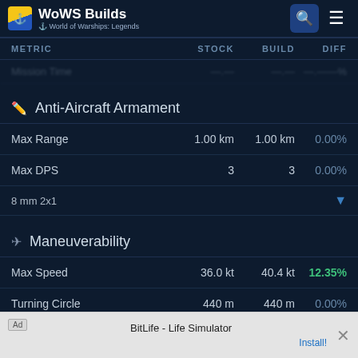WoWS Builds – World of Warships: Legends
| METRIC | STOCK | BUILD | DIFF |
| --- | --- | --- | --- |
| (truncated row) | — | — | — |
| Max Range | 1.00 km | 1.00 km | 0.00% |
| Max DPS | 3 | 3 | 0.00% |
| 8 mm 2x1 |  |  | ▼ |
| Max Speed | 36.0 kt | 40.4 kt | 12.35% |
| Turning Circle | 440 m | 440 m | 0.00% |
| Rudder Shift Ti… | — | — | — |
Anti-Aircraft Armament
Maneuverability
Ad – BitLife - Life Simulator – Install!